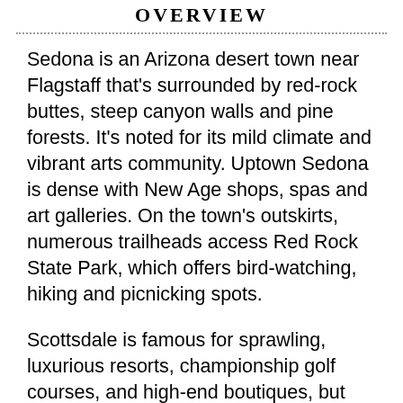OVERVIEW
Sedona is an Arizona desert town near Flagstaff that's surrounded by red-rock buttes, steep canyon walls and pine forests. It's noted for its mild climate and vibrant arts community. Uptown Sedona is dense with New Age shops, spas and art galleries. On the town's outskirts, numerous trailheads access Red Rock State Park, which offers bird-watching, hiking and picnicking spots.
Scottsdale is famous for sprawling, luxurious resorts, championship golf courses, and high-end boutiques, but the heart of the city is Old Town